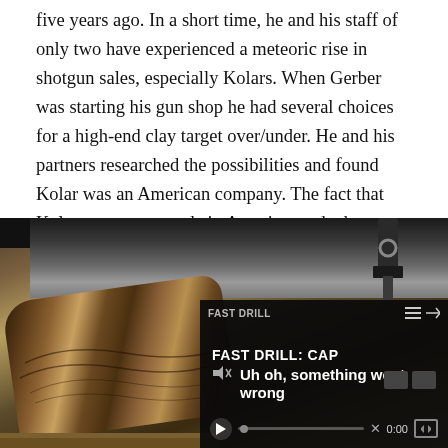five years ago. In a short time, he and his staff of only two have experienced a meteoric rise in shotgun sales, especially Kolars. When Gerber was starting his gun shop he had several choices for a high-end clay target over/under. He and his partners researched the possibilities and found Kolar was an American company. The fact that Kolar guns were made in America made the decision for them. But how to convince Kolar to have Elite become a distributor?
[Figure (photo): Close-up photo of a wooden gun stock with visible wood grain markings, alongside metal gun parts being machined. A video player overlay in the bottom right shows 'FAST DRILL: CAP' and an error message 'Uh oh, something went wrong' with video controls showing 0:00 timestamp.]